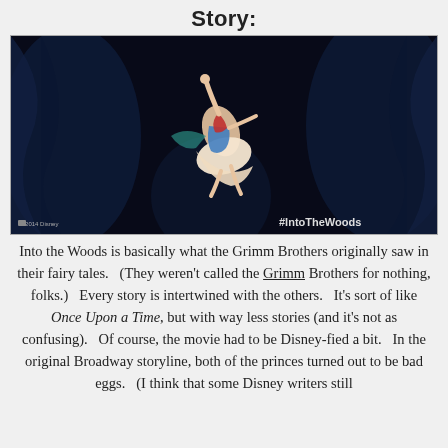Story:
[Figure (photo): A figure from the movie Into the Woods falling or flying against a dark blue background, with #IntoTheWoods watermark in lower right and copyright notice in lower left.]
Into the Woods is basically what the Grimm Brothers originally saw in their fairy tales.   (They weren't called the Grimm Brothers for nothing, folks.)   Every story is intertwined with the others.   It's sort of like Once Upon a Time, but with way less stories (and it's not as confusing).   Of course, the movie had to be Disney-fied a bit.   In the original Broadway storyline, both of the princes turned out to be bad eggs.   (I think that some Disney writers still